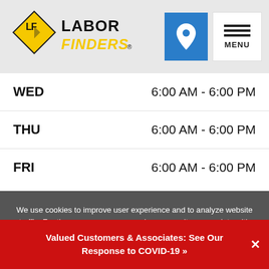[Figure (logo): Labor Finders logo with diamond shape and yellow/black text]
| Day | Hours |
| --- | --- |
| WED | 6:00 AM - 6:00 PM |
| THU | 6:00 AM - 6:00 PM |
| FRI | 6:00 AM - 6:00 PM |
We use cookies to improve user experience and to analyze website traffic. For these reasons, we may share your site usage data with our analytics and advertising partners. By continuing to use the site, you consent to store on your device all the technologies described in our Cookie Policy. You can change your cookie settings at any time by clicking "Cookie Preferences" in your browser settings. Please read our Terms and Conditions and Privacy Policy for full details.
Valued Customers & Associates: See Our Response to COVID-19 »